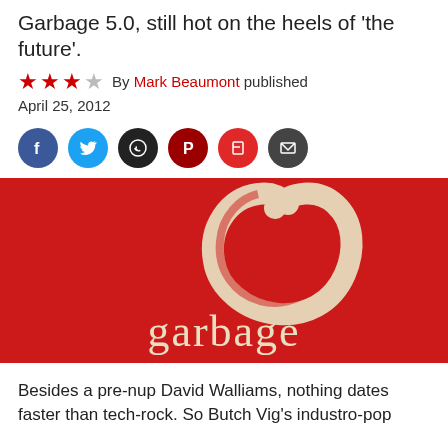Garbage 5.0, still hot on the heels of 'the future'.
★★★☆ By Mark Beaumont published
April 25, 2012
[Figure (photo): Garbage album cover — red background with a cream-colored hand-drawn letter G and the word 'garbage' in serif type below]
Besides a pre-nup David Walliams, nothing dates faster than tech-rock. So Butch Vig's industro-pop